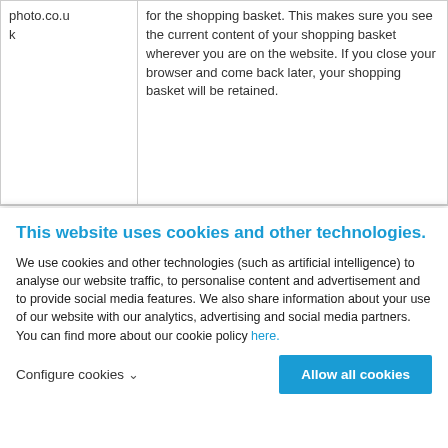| photo.co.uk | for the shopping basket. This makes sure you see the current content of your shopping basket wherever you are on the website. If you close your browser and come back later, your shopping basket will be retained. |
This website uses cookies and other technologies.
We use cookies and other technologies (such as artificial intelligence) to analyse our website traffic, to personalise content and advertisement and to provide social media features. We also share information about your use of our website with our analytics, advertising and social media partners. You can find more about our cookie policy here.